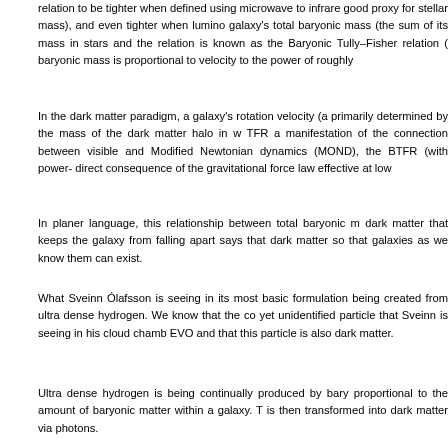relation to be tighter when defined using microwave to infrare good proxy for stellar mass), and even tighter when lumino galaxy's total baryonic mass (the sum of its mass in stars and the relation is known as the Baryonic Tully–Fisher relation ( baryonic mass is proportional to velocity to the power of roughly
In the dark matter paradigm, a galaxy's rotation velocity (a primarily determined by the mass of the dark matter halo in w TFR a manifestation of the connection between visible and Modified Newtonian dynamics (MOND), the BTFR (with power- direct consequence of the gravitational force law effective at low
In planer language, this relationship between total baryonic m dark matter that keeps the galaxy from falling apart says that dark matter so that galaxies as we know them can exist.
What Sveinn Ólafsson is seeing in its most basic formulation being created from ultra dense hydrogen. We know that the co yet unidentified particle that Sveinn is seeing in his cloud chamb EVO and that this particle is also dark matter.
Ultra dense hydrogen is being continually produced by bary proportional to the amount of baryonic matter within a galaxy. T is then transformed into dark matter via photons.